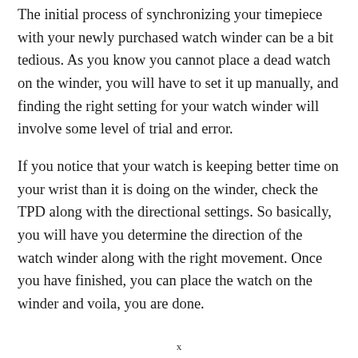The initial process of synchronizing your timepiece with your newly purchased watch winder can be a bit tedious. As you know you cannot place a dead watch on the winder, you will have to set it up manually, and finding the right setting for your watch winder will involve some level of trial and error.
If you notice that your watch is keeping better time on your wrist than it is doing on the winder, check the TPD along with the directional settings. So basically, you will have you determine the direction of the watch winder along with the right movement. Once you have finished, you can place the watch on the winder and voila, you are done.
x